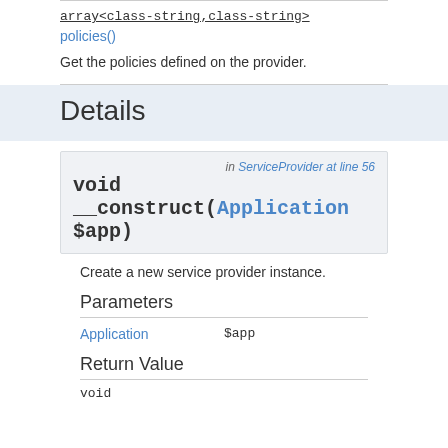array<class-string,class-string>
policies()
Get the policies defined on the provider.
Details
void  in ServiceProvider at line 56
__construct(Application $app)
Create a new service provider instance.
Parameters
|  |  |
| --- | --- |
| Application | $app |
Return Value
void